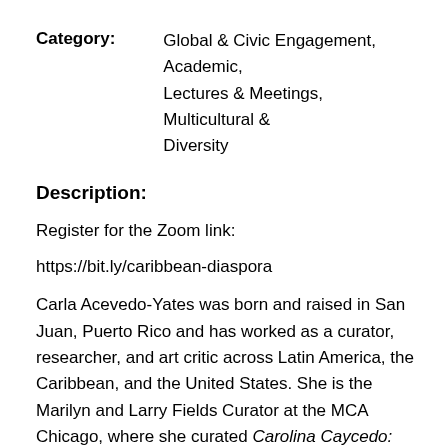Category: Global & Civic Engagement, Academic, Lectures & Meetings, Multicultural & Diversity
Description:
Register for the Zoom link:
https://bit.ly/caribbean-diaspora
Carla Acevedo-Yates was born and raised in San Juan, Puerto Rico and has worked as a curator, researcher, and art critic across Latin America, the Caribbean, and the United States. She is the Marilyn and Larry Fields Curator at the MCA Chicago, where she curated Carolina Caycedo: From the Bottom of the River and Chicago Works: Omar Velázquez. She is currently